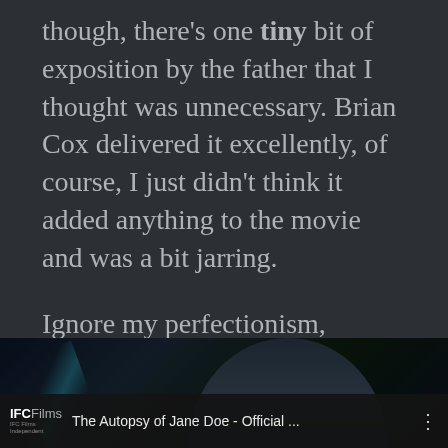though, there's one tiny bit of exposition by the father that I thought was unnecessary. Brian Cox delivered it excellently, of course, I just didn't think it added anything to the movie and was a bit jarring.
Ignore my perfectionism, though. Do yourself a favor and watch this movie. It's 99.44/100% pure spooky fun.
[Figure (screenshot): YouTube video thumbnail and title bar for 'The Autopsy of Jane Doe - Official ...' from IFC Films channel, showing a dark scene with a person's face partially visible]